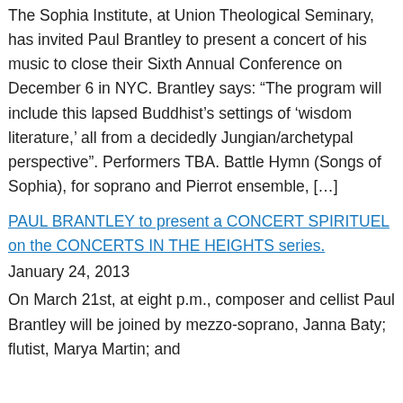The Sophia Institute, at Union Theological Seminary, has invited Paul Brantley to present a concert of his music to close their Sixth Annual Conference on December 6 in NYC. Brantley says: “The program will include this lapsed Buddhist’s settings of ‘wisdom literature,’ all from a decidedly Jungian/archetypal perspective”. Performers TBA. Battle Hymn (Songs of Sophia), for soprano and Pierrot ensemble, […]
PAUL BRANTLEY to present a CONCERT SPIRITUEL on the CONCERTS IN THE HEIGHTS series.
January 24, 2013
On March 21st, at eight p.m., composer and cellist Paul Brantley will be joined by mezzo-soprano, Janna Baty; flutist, Marya Martin; and